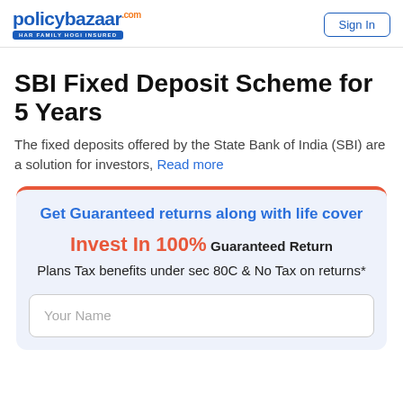policybazaar.com HAR FAMILY HOGI INSURED | Sign In
SBI Fixed Deposit Scheme for 5 Years
The fixed deposits offered by the State Bank of India (SBI) are a solution for investors, Read more
Get Guaranteed returns along with life cover Invest In 100% Guaranteed Return Plans Tax benefits under sec 80C & No Tax on returns*
Your Name